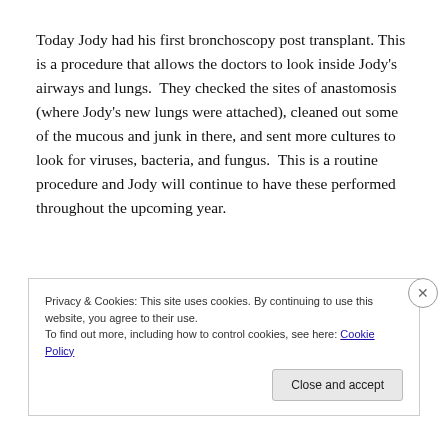Today Jody had his first bronchoscopy post transplant. This is a procedure that allows the doctors to look inside Jody's airways and lungs. They checked the sites of anastomosis (where Jody's new lungs were attached), cleaned out some of the mucous and junk in there, and sent more cultures to look for viruses, bacteria, and fungus. This is a routine procedure and Jody will continue to have these performed throughout the upcoming year.
Privacy & Cookies: This site uses cookies. By continuing to use this website, you agree to their use. To find out more, including how to control cookies, see here: Cookie Policy